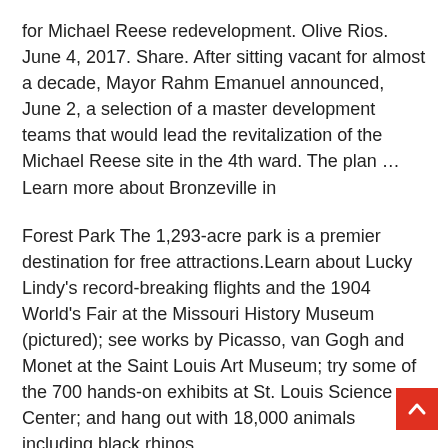for Michael Reese redevelopment. Olive Rios. June 4, 2017. Share. After sitting vacant for almost a decade, Mayor Rahm Emanuel announced, June 2, a selection of a master development teams that would lead the revitalization of the Michael Reese site in the 4th ward. The plan … Learn more about Bronzeville in
Forest Park The 1,293-acre park is a premier destination for free attractions.Learn about Lucky Lindy's record-breaking flights and the 1904 World's Fair at the Missouri History Museum (pictured); see works by Picasso, van Gogh and Monet at the Saint Louis Art Museum; try some of the 700 hands-on exhibits at St. Louis Science Center; and hang out with 18,000 animals including black rhinos …
Enjoy free dance performances, films, lectures, seminars, theater, free building tours and world's … Other things to do at the Chicago Cultural Center … Posted by Carol on April 6, 20 | Updated August 14, 2018 Filed Under: Expired Tagged …